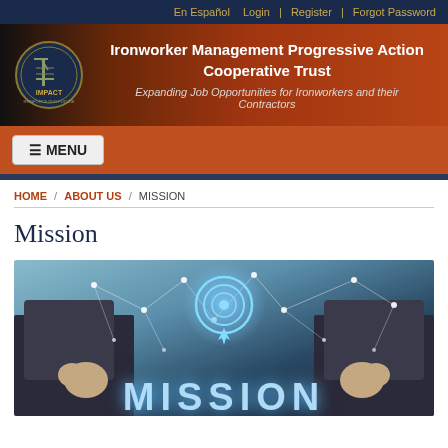En Español   Login   Register   Forgot Password
Ironworker Management Progressive Action Cooperative Trust
Expanding Job Opportunities for Ironworkers and their Contractors
≡ MENU
HOME / ABOUT US / MISSION
Mission
[Figure (photo): Person in suit with fists clenched, digital network overlay with target/mission icon and text MISSION in glowing blue letters]